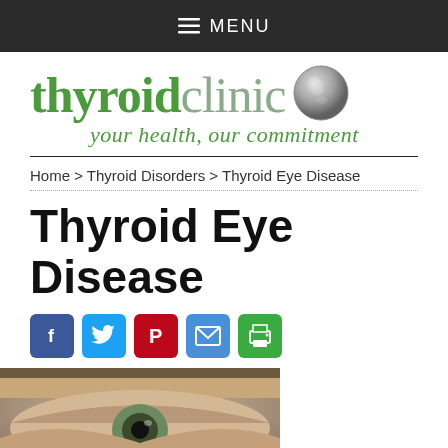≡ MENU
[Figure (logo): Thyroid Clinic logo with green 'thyroid' text, grey 'clinic' text, a grey sphere icon, and italic tagline 'your health, our commitment' with a horizontal divider line]
Home > Thyroid Disorders > Thyroid Eye Disease
Thyroid Eye Disease
[Figure (infographic): Row of social sharing icons: Facebook (blue), Twitter (light blue), Pinterest (red), Email (blue), Print (green)]
[Figure (photo): Close-up photograph of a human eye, partially visible, cropped at the bottom of the page]